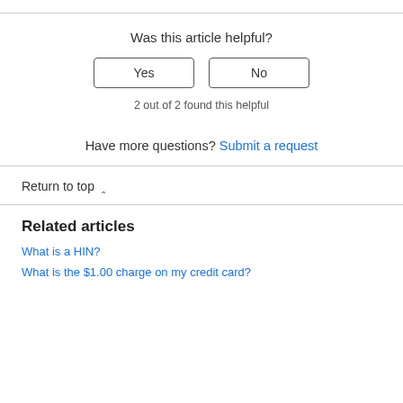Was this article helpful?
Yes | No
2 out of 2 found this helpful
Have more questions? Submit a request
Return to top ^
Related articles
What is a HIN?
What is the $1.00 charge on my credit card?